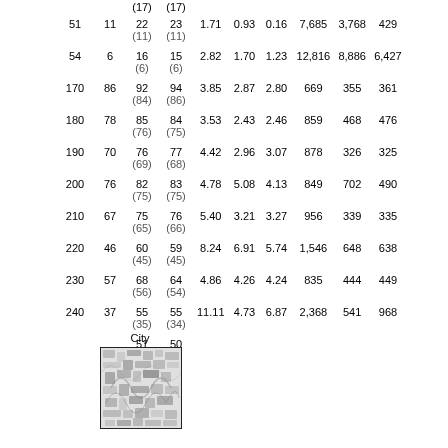|  | (17) | (17) |  |  |  |  |  |  |
| 51 | 11 | 22
(11) | 23
(11) | 1.71 | 0.93 | 0.16 | 7,685 | 3,768 | 429 |
| 54 | 6 | 16
(6) | 15
(6) | 2.82 | 1.70 | 1.23 | 12,816 | 8,886 | 6,427 |
| 170 | 86 | 92
(84) | 94
(86) | 3.85 | 2.87 | 2.80 | 669 | 355 | 361 |
| 180 | 78 | 85
(76) | 84
(75) | 3.53 | 2.43 | 2.46 | 859 | 468 | 476 |
| 190 | 70 | 76
(69) | 77
(68) | 4.42 | 2.96 | 3.07 | 878 | 326 | 325 |
| 200 | 76 | 82
(75) | 83
(75) | 4.78 | 5.08 | 4.13 | 849 | 702 | 490 |
| 210 | 67 | 75
(65) | 76
(66) | 5.40 | 3.21 | 3.27 | 956 | 339 | 335 |
| 220 | 46 | 60
(45) | 59
(45) | 8.24 | 6.91 | 5.74 | 1,546 | 648 | 638 |
| 230 | 57 | 68
(56) | 64
(54) | 4.86 | 4.26 | 4.24 | 835 | 444 | 449 |
| 240 | 37 | 55
(35) | 55
(34) | 11.11 | 4.73 | 6.87 | 2,368 | 541 | 968 |
|  |  | 51 | 50 |  |  |  |  |  |  |
[Figure (photo): City texture/map image with label 'City' above it]